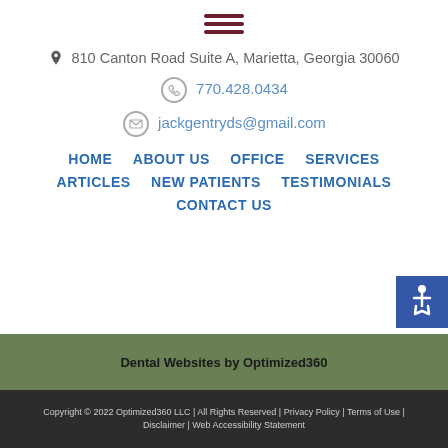[Figure (other): Hamburger menu icon with three dark maroon horizontal lines]
810 Canton Road Suite A, Marietta, Georgia 30060
770.428.0434
jackgentryds@gmail.com
HOME
ABOUT US
OFFICE
SERVICES
ARTICLES
NEW PATIENTS
TESTIMONIALS
CONTACT US
[Figure (other): Accessibility icon (wheelchair symbol) on blue square background]
Dental Websites by Optimized360
Copyright © 2022 Optimized360 LLC | All Rights Reserved | Privacy Policy | Terms of Use | Disclaimer | Web Accessibility Statement